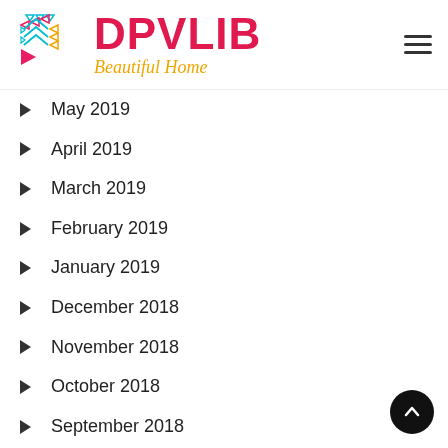[Figure (logo): DPVLIB Beautiful Home logo with geometric arrow icon in teal, pink and yellow, and hamburger menu icon on the right]
May 2019
April 2019
March 2019
February 2019
January 2019
December 2018
November 2018
October 2018
September 2018
August 2018
July 2018